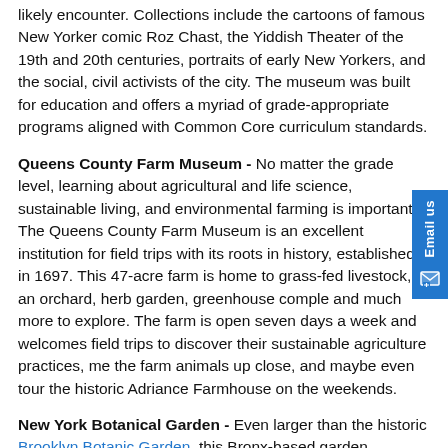likely encounter. Collections include the cartoons of famous New Yorker comic Roz Chast, the Yiddish Theater of the 19th and 20th centuries, portraits of early New Yorkers, and the social, civil activists of the city. The museum was built for education and offers a myriad of grade-appropriate programs aligned with Common Core curriculum standards.
Queens County Farm Museum - No matter the grade level, learning about agricultural and life science, sustainable living, and environmental farming is important. The Queens County Farm Museum is an excellent institution for field trips with its roots in history, established in 1697. This 47-acre farm is home to grass-fed livestock, an orchard, herb garden, greenhouse complex, and much more to explore. The farm is open seven days a week and welcomes field trips to discover their sustainable agriculture practices, meet the farm animals up close, and maybe even tour the historic Adriance Farmhouse on the weekends.
New York Botanical Garden - Even larger than the historic Brooklyn Botanic Garden, this Bronx-based garden wonderland covers 250-acres of sheer gorgeous scenery. Botanical gardens are also highly educational attractions, full of life science and biology, not to mention ecology and environmental science. There are over a million plants living in the enchanted themed gardens from the Rose Garden to the Children's Adventure Garden, the Conservatory, Family Garden, and Home Gardening Center where you can learn tips from the experts. There are a number of education programs for visiting students and teachers, workshops, nature walks and tours, and nature investigations for all grade levels.